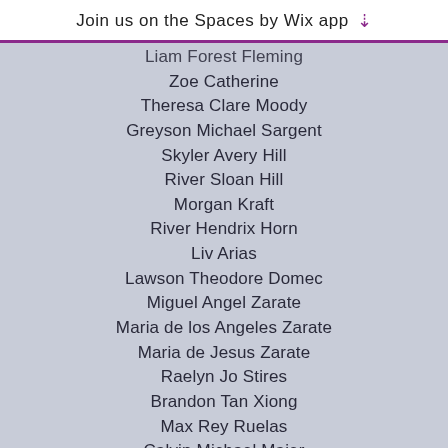Join us on the Spaces by Wix app
Liam Forest Fleming
Zoe Catherine
Theresa Clare Moody
Greyson Michael Sargent
Skyler Avery Hill
River Sloan Hill
Morgan Kraft
River Hendrix Horn
Liv Arias
Lawson Theodore Domec
Miguel Angel Zarate
Maria de los Angeles Zarate
Maria de Jesus Zarate
Raelyn Jo Stires
Brandon Tan Xiong
Max Rey Ruelas
Calvin Michael Maier
Morgan Nickol Duke
Elias Ruben Zafra Arteaga
Angel Zafra Arteaga
Baby Peronne
Elly Hope Jolman; CeCe Grace Blue